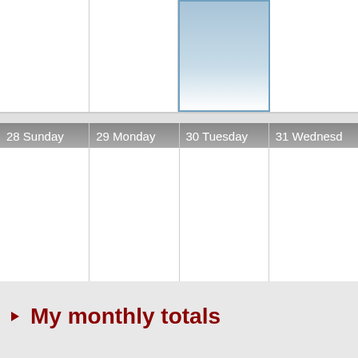| 28 Sunday | 29 Monday | 30 Tuesday | 31 Wednesday |
| --- | --- | --- | --- |
|  |  |  |  |
My monthly totals